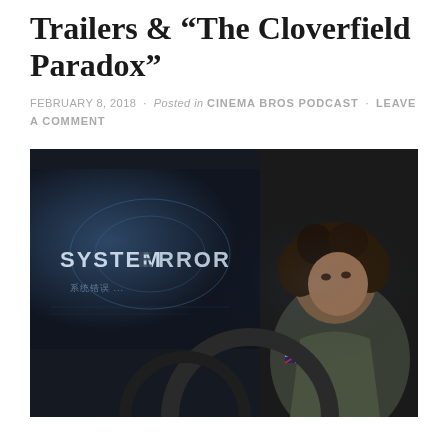Trailers & "The Cloverfield Paradox"
FEBRUARY 8, 2018 · Posted in CINEMA BROS PODCAST · LEAVE A COMMENT
[Figure (photo): A woman with curly hair wearing a military-style olive jacket with a UK flag patch, looking over her shoulder with a concerned expression. Behind her, a screen displays 'SYSTEM ERROR' in large letters with other digital text. The lighting is dark and moody, from the film The Cloverfield Paradox.]